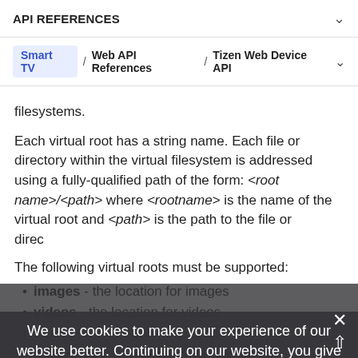API REFERENCES
Smart TV / Web API References / Tizen Web Device API
filesystems.
Each virtual root has a string name. Each file or directory within the virtual filesystem is addressed using a fully-qualified path of the form: <root name>/<path> where <rootname> is the name of the virtual root and <path> is the path to the file or directory.
The following virtual roots must be supported:
images - the location for images
videos - the location for videos
music - the location for sounds
documents - the location for documents
We use cookies to make your experience of our website better. Continuing on our website, you give us your consent to set these cookies. Find out more